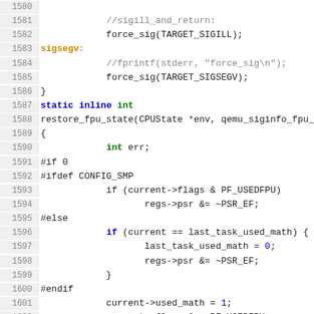[Figure (screenshot): Source code editor view showing C code lines 1580-1605, with syntax highlighting. Line numbers in grey on left, keywords in blue/green/gold, preprocessor directives in black, comments in grey.]